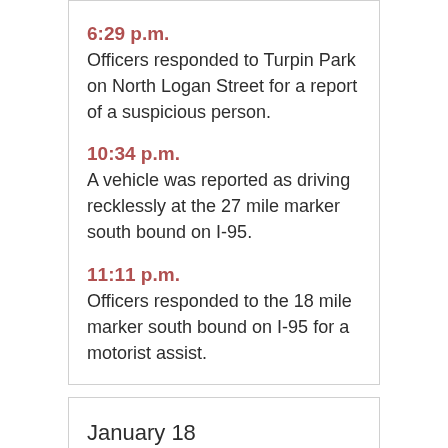6:29 p.m.
Officers responded to Turpin Park on North Logan Street for a report of a suspicious person.
10:34 p.m.
A vehicle was reported as driving recklessly at the 27 mile marker south bound on I-95.
11:11 p.m.
Officers responded to the 18 mile marker south bound on I-95 for a motorist assist.
January 18
9:09 a.m.
Officers responded to Heron Crossing Apartments, 72 Heron Crossing Road, for a